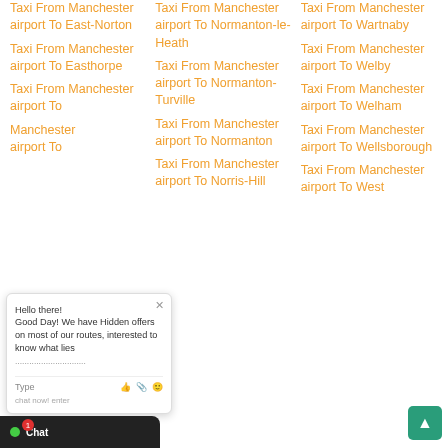Taxi From Manchester airport To East-Norton
Taxi From Manchester airport To Easthorpe
Taxi From Manchester airport To
Manchester airport To
Taxi From Manchester airport To Normanton-le-Heath
Taxi From Manchester airport To Normanton-Turville
Taxi From Manchester airport To Normanton
Taxi From Manchester airport To Norris-Hill
Taxi From Manchester airport To Wartnaby
Taxi From Manchester airport To Welby
Taxi From Manchester airport To Welham
Taxi From Manchester airport To Wellsborough
Taxi From Manchester airport To West
[Figure (screenshot): Live chat widget popup with message: Hello there! Good Day! We have Hidden offers on most of our routes, interested to know what lies... with Type input field and emoji icons. Also shows Chat bar at bottom left with notification badge and green scroll-to-top button at bottom right.]